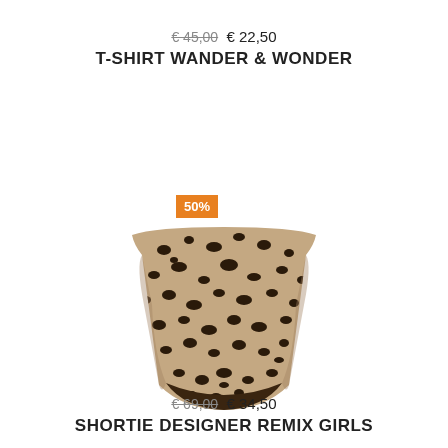€ 45,00 € 22,50
T-SHIRT WANDER & WONDER
[Figure (photo): Leopard print children's shortie/bloomers with a 50% discount badge in orange]
€ 69,00 € 34,50
SHORTIE DESIGNER REMIX GIRLS